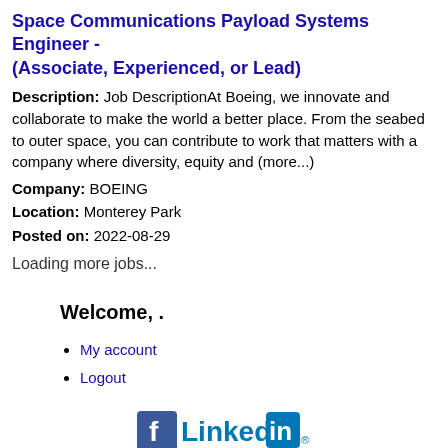Space Communications Payload Systems Engineer - (Associate, Experienced, or Lead)
Description: Job DescriptionAt Boeing, we innovate and collaborate to make the world a better place. From the seabed to outer space, you can contribute to work that matters with a company where diversity, equity and (more...)
Company: BOEING
Location: Monterey Park
Posted on: 2022-08-29
Loading more jobs...
Welcome, .
My account
Logout
[Figure (logo): Facebook and LinkedIn social media icons]
Get the latest California jobs by following @recnetCA on Twitter!